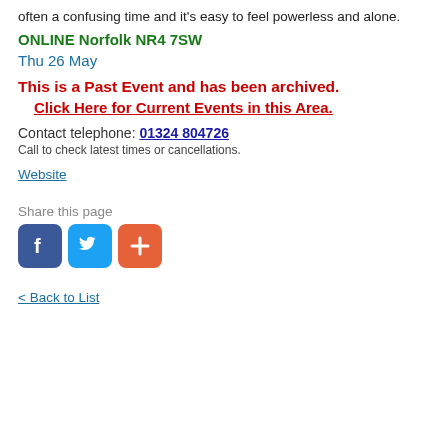often a confusing time and it's easy to feel powerless and alone.
ONLINE Norfolk NR4 7SW
Thu 26 May
This is a Past Event and has been archived.
Click Here for Current Events in this Area.
Contact telephone: 01324 804726
Call to check latest times or cancellations.
Website
Share this page
[Figure (other): Social sharing icons: Facebook (blue), Twitter (light blue), and a plus/add button (orange-red)]
< Back to List